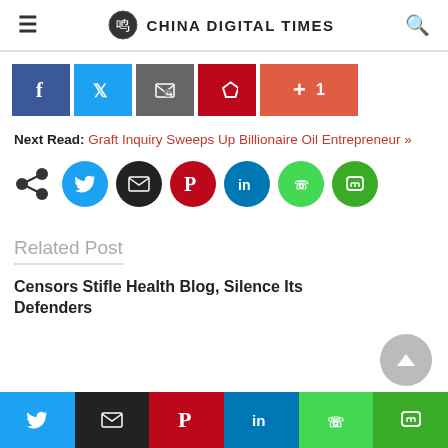CHINA DIGITAL TIMES
[Figure (other): Social share buttons: Facebook, Twitter, Email, Pinterest, and +1 counter button]
Next Read: Graft Inquiry Sweeps Up Billionaire Oil Entrepreneur »
[Figure (other): Social sharing circle icons: share/Twitter/Email/Pinterest/LinkedIn/WhatsApp/Line]
Related Post
Censors Stifle Health Blog, Silence Its Defenders
[Figure (other): Bottom social share bar: Twitter, Email, Pinterest, LinkedIn, WhatsApp, Line]